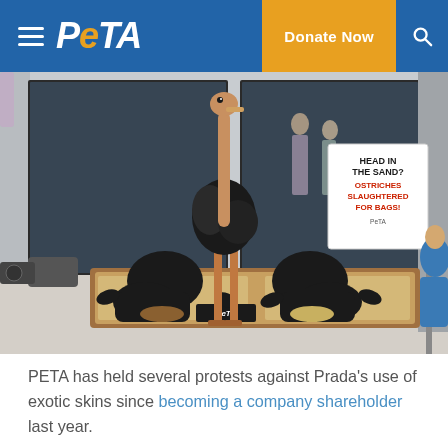PETA | Donate Now
[Figure (photo): PETA protest outside Prada store. A life-size ostrich sculpture stands on a wooden sand box platform with the PETA logo. Two protesters dressed in black have their heads buried in the sand on either side. A sign reads: HEAD IN THE SAND? OSTRICHES SLAUGHTERED FOR BAGS! A camera crew and bystanders are visible.]
PETA has held several protests against Prada's use of exotic skins since becoming a company shareholder last year.